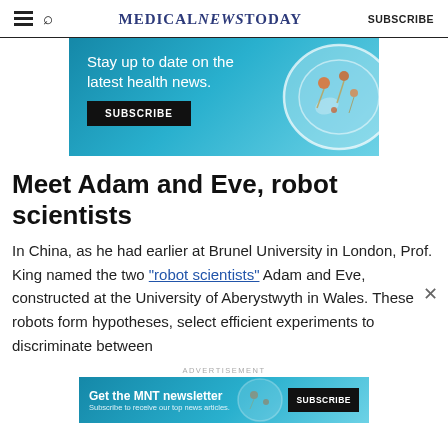MedicalNewsToday SUBSCRIBE
[Figure (infographic): Advertisement banner: 'Stay up to date on the latest health news. SUBSCRIBE' with petri dish illustration on teal/blue gradient background]
Meet Adam and Eve, robot scientists
In China, as he had earlier at Brunel University in London, Prof. King named the two "robot scientists" Adam and Eve, constructed at the University of Aberystwyth in Wales. These robots form hypotheses, select efficient experiments to discriminate between
[Figure (infographic): Bottom advertisement banner: 'Get the MNT newsletter. Subscribe to receive our top news articles. SUBSCRIBE' with petri dish on teal background]